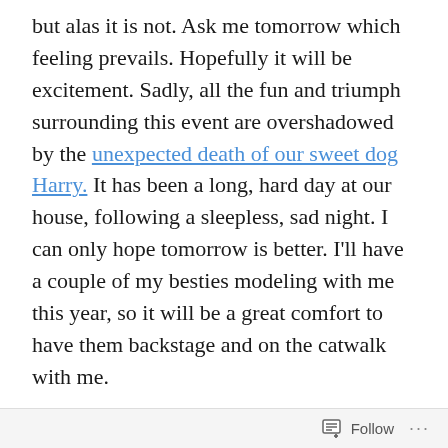but alas it is not. Ask me tomorrow which feeling prevails. Hopefully it will be excitement. Sadly, all the fun and triumph surrounding this event are overshadowed by the unexpected death of our sweet dog Harry. It has been a long, hard day at our house, following a sleepless, sad night. I can only hope tomorrow is better. I'll have a couple of my besties modeling with me this year, so it will be a great comfort to have them backstage and on the catwalk with me.
Getting ready for the show is pretty easy, assuming there are no big bumps in the road like the one we're experiencing as we grieve for our dog. There's the model survey to fill out (height, weight, hair & eye color, favorite designers, personal style, etc) and a full-length photo to
Follow ···